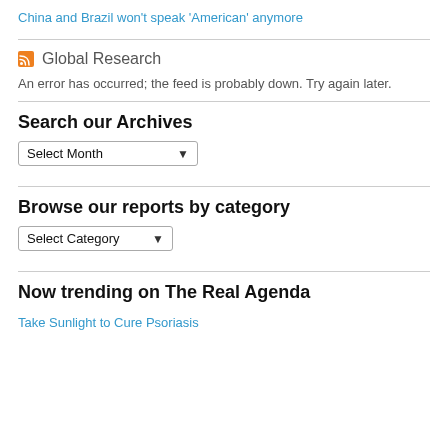China and Brazil won't speak 'American' anymore
Global Research
An error has occurred; the feed is probably down. Try again later.
Search our Archives
Select Month
Browse our reports by category
Select Category
Now trending on The Real Agenda
Take Sunlight to Cure Psoriasis